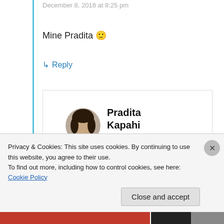December 8, 2018 at 8:25 pm
Mine Pradita 🙂
↳ Reply
Pradita Kapahi
December 8,
[Figure (photo): Circular avatar photo of Pradita Kapahi]
Privacy & Cookies: This site uses cookies. By continuing to use this website, you agree to their use.
To find out more, including how to control cookies, see here: Cookie Policy
Close and accept